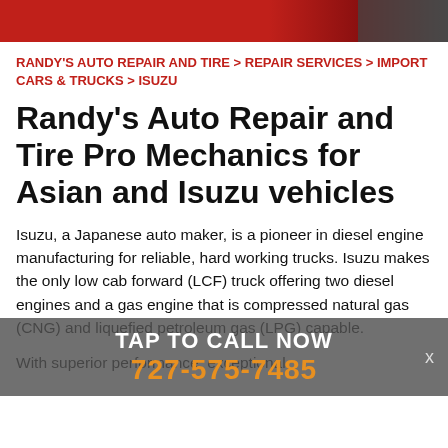RANDY'S AUTO REPAIR AND TIRE > REPAIR SERVICES > IMPORT CARS & TRUCKS > ISUZU
Randy's Auto Repair and Tire Pro Mechanics for Asian and Isuzu vehicles
Isuzu, a Japanese auto maker, is a pioneer in diesel engine manufacturing for reliable, hard working trucks. Isuzu makes the only low cab forward (LCF) truck offering two diesel engines and a gas engine that is compressed natural gas (CNG) and liquefied petroleum gas (LPG) capable.
With superior performance, exceptional
[Figure (screenshot): TAP TO CALL NOW overlay banner with phone number 727-575-7485 and X close button]